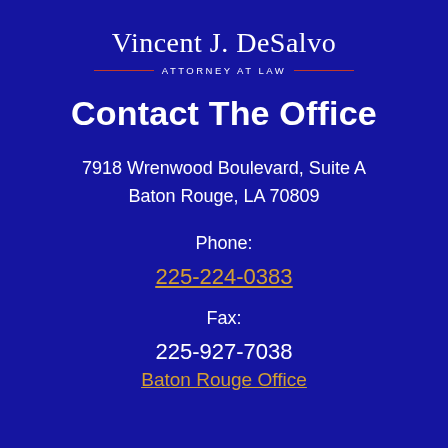Vincent J. DeSalvo
ATTORNEY AT LAW
Contact The Office
7918 Wrenwood Boulevard, Suite A
Baton Rouge, LA 70809
Phone:
225-224-0383
Fax:
225-927-7038
Baton Rouge Office